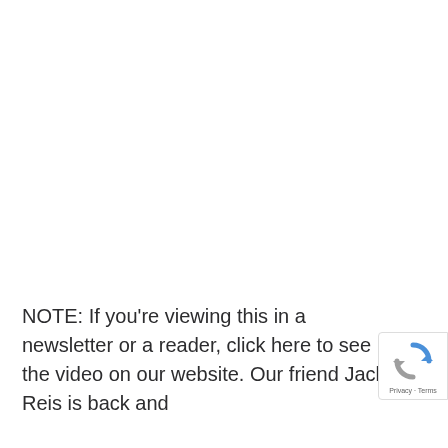NOTE: If you're viewing this in a newsletter or a reader, click here to see the video on our website. Our friend Jack Reis is back and